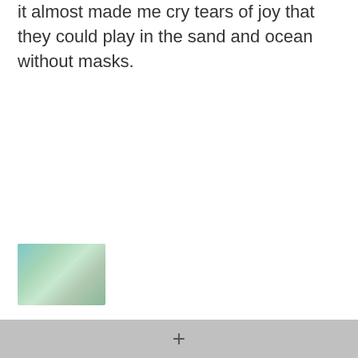it almost made me cry tears of joy that they could play in the sand and ocean without masks.
[Figure (photo): Small blurred thumbnail image showing what appears to be a beach or ocean scene with teal/green tones]
The bubble makes a range of amenities and activities at a handful of resorts accessible to guests whose movement is restricted